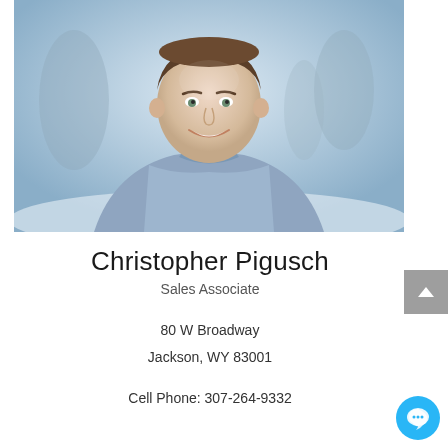[Figure (photo): Professional headshot of Christopher Pigusch, a young man in a light blue button-down shirt, smiling, with a blurred outdoor winter background]
Christopher Pigusch
Sales Associate
80 W Broadway
Jackson, WY 83001
Cell Phone: 307-264-9332